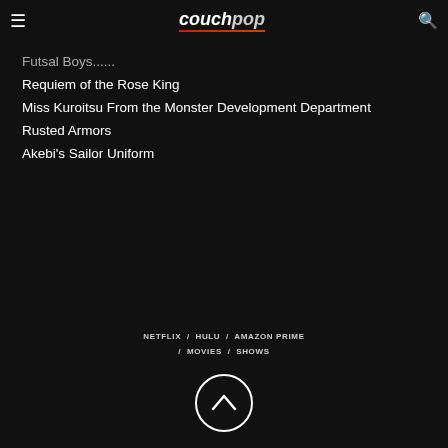couchpop
Futsal Boys......
Requiem of the Rose King
Miss Kuroitsu From the Monster Development Department
Rusted Armors
Akebi's Sailor Uniform
NETFLIX / HULU / AMAZON PRIME / MOVIES / SHOWS
[Figure (illustration): Circular scroll-to-top button with an upward chevron arrow, white outline on dark background]